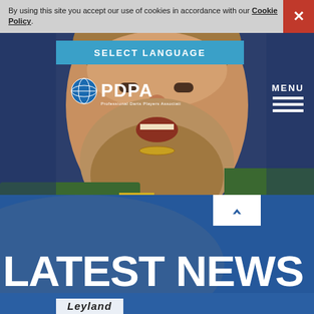By using this site you accept our use of cookies in accordance with our Cookie Policy.
[Figure (photo): Close-up photo of a bearded man wearing a green and yellow jacket, appearing to be a darts player at a professional event]
[Figure (logo): PDPA - Professional Darts Players Association logo with globe icon]
SELECT LANGUAGE
MENU
LATEST NEWS
[Figure (logo): Leyland partial logo/banner at bottom of page]